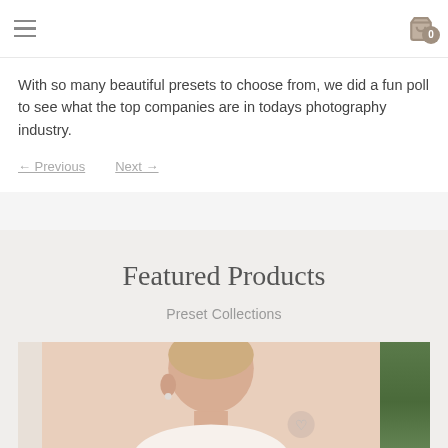Navigation header with hamburger menu and cart icon (0 items)
With so many beautiful presets to choose from, we did a fun poll to see what the top companies are in todays photography industry.
← Previous   Next →
Featured Products
Preset Collections
[Figure (photo): Product photo showing a person and a green outdoor scene]